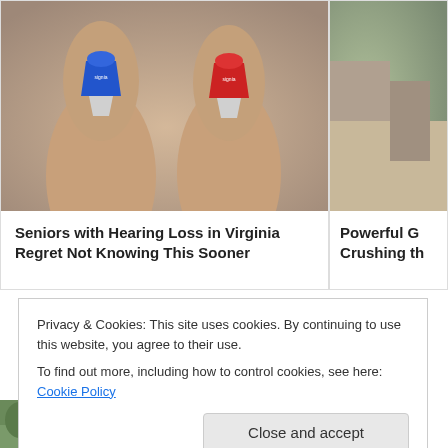[Figure (photo): Two small hearing aid devices (one blue, one red, both branded Signia) held between fingers against a blurred background]
Seniors with Hearing Loss in Virginia Regret Not Knowing This Sooner
[Figure (photo): Partially visible photo, appears to show an indoor scene, cropped on the right]
Powerful G Crushing th
Privacy & Cookies: This site uses cookies. By continuing to use this website, you agree to their use.
To find out more, including how to control cookies, see here: Cookie Policy
Close and accept
[Figure (photo): Small thumbnail photo showing outdoor greenery]
12Up